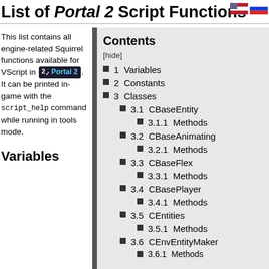List of Portal 2 Script Functions
[Figure (other): Two small flag icons (US and Russian flags) in the top right corner]
This list contains all engine-related Squirrel functions available for VScript in Portal 2. It can be printed in-game with the script_help command while running in tools mode.
Variables
Contents
[hide]
1  Variables
2  Constants
3  Classes
3.1  CBaseEntity
3.1.1  Methods
3.2  CBaseAnimating
3.2.1  Methods
3.3  CBaseFlex
3.3.1  Methods
3.4  CBasePlayer
3.4.1  Methods
3.5  CEntities
3.5.1  Methods
3.6  CEnvEntityMaker
3.6.1  Methods